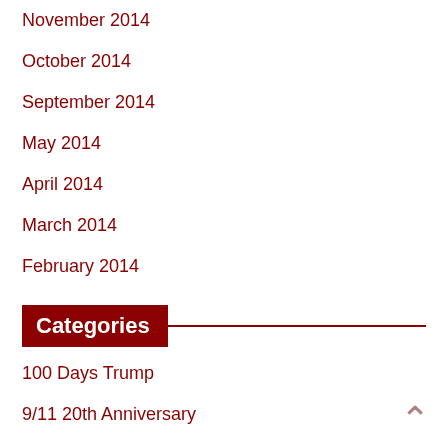November 2014
October 2014
September 2014
May 2014
April 2014
March 2014
February 2014
Categories
100 Days Trump
9/11 20th Anniversary
Arts
Arts and Entertainment